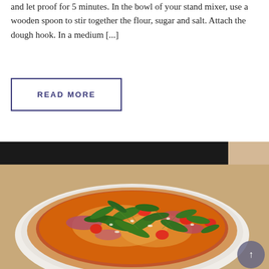and let proof for 5 minutes. In the bowl of your stand mixer, use a wooden spoon to stir together the flour, sugar and salt. Attach the dough hook. In a medium [...]
READ MORE
[Figure (photo): A pizza topped with arugula, cherry tomatoes, prosciutto, and grated parmesan cheese on a white plate, photographed from above at an angle.]